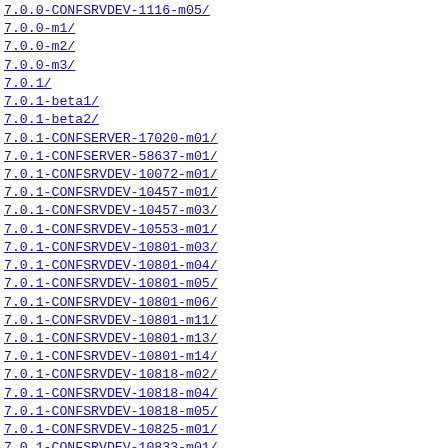7.0.0-CONFSRVDEV-1116-m05/
7.0.0-m1/
7.0.0-m2/
7.0.0-m3/
7.0.1/
7.0.1-beta1/
7.0.1-beta2/
7.0.1-CONFSERVER-17020-m01/
7.0.1-CONFSERVER-58637-m01/
7.0.1-CONFSRVDEV-10072-m01/
7.0.1-CONFSRVDEV-10457-m01/
7.0.1-CONFSRVDEV-10457-m03/
7.0.1-CONFSRVDEV-10553-m01/
7.0.1-CONFSRVDEV-10801-m03/
7.0.1-CONFSRVDEV-10801-m04/
7.0.1-CONFSRVDEV-10801-m05/
7.0.1-CONFSRVDEV-10801-m06/
7.0.1-CONFSRVDEV-10801-m11/
7.0.1-CONFSRVDEV-10801-m13/
7.0.1-CONFSRVDEV-10801-m14/
7.0.1-CONFSRVDEV-10818-m02/
7.0.1-CONFSRVDEV-10818-m04/
7.0.1-CONFSRVDEV-10818-m05/
7.0.1-CONFSRVDEV-10825-m01/
7.0.1-CONFSRVDEV-10833-m01/
7.0.1-CONFSRVDEV-11138-m02/
7.0.1-CONFSRVDEV-11138-m04/
7.0.1-CONFSRVDEV-11138-m05/
7.0.1-CONFSRVDEV-11138-m07/
7.0.1-CONFSRVDEV-11138-m10/
7.0.1-CONFSRVDEV-11138-m11/